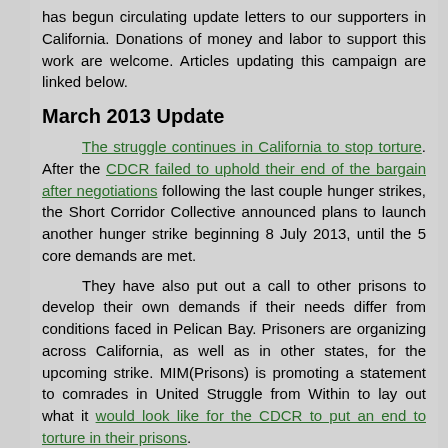has begun circulating update letters to our supporters in California. Donations of money and labor to support this work are welcome. Articles updating this campaign are linked below.
March 2013 Update
The struggle continues in California to stop torture. After the CDCR failed to uphold their end of the bargain after negotiations following the last couple hunger strikes, the Short Corridor Collective announced plans to launch another hunger strike beginning 8 July 2013, until the 5 core demands are met.
They have also put out a call to other prisons to develop their own demands if their needs differ from conditions faced in Pelican Bay. Prisoners are organizing across California, as well as in other states, for the upcoming strike. MIM(Prisons) is promoting a statement to comrades in United Struggle from Within to lay out what it would look like for the CDCR to put an end to torture in their prisons.
The info below provides further background to